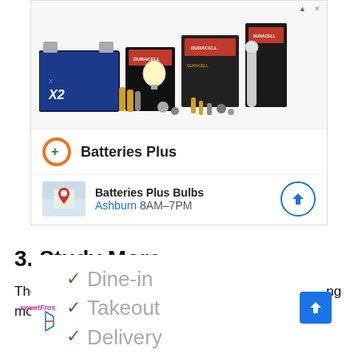[Figure (screenshot): Advertisement for Batteries Plus showing Duracell battery products (car battery, AA/AAA batteries, flashlights), the Batteries Plus logo with orange circle and green plus sign, and a location card showing 'Batteries Plus Bulbs' in Ashburn 8AM-7PM with a map thumbnail and navigation button.]
3. Study More
The essential part of your pharmacy career is studying more and more. You need to examine what
[Figure (screenshot): Advertisement showing restaurant options with green checkmarks: Dine-in, Takeout, Delivery. Includes SweetFrog logo and a blue diamond navigation button.]